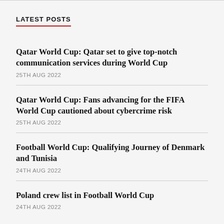LATEST POSTS
Qatar World Cup: Qatar set to give top-notch communication services during World Cup
25TH AUG 2022
Qatar World Cup: Fans advancing for the FIFA World Cup cautioned about cybercrime risk
25TH AUG 2022
Football World Cup: Qualifying Journey of Denmark and Tunisia
24TH AUG 2022
Poland crew list in Football World Cup
24TH AUG 2022